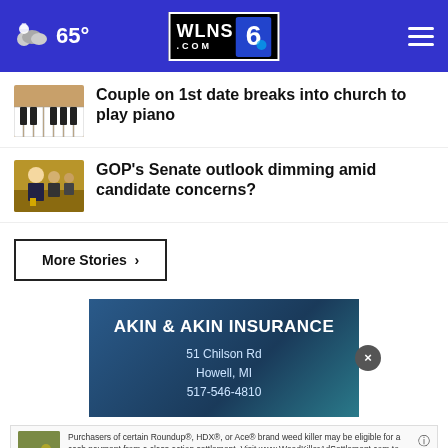WLNS.COM 6 — 65°
Couple on 1st date breaks into church to play piano
GOP's Senate outlook dimming amid candidate concerns?
More Stories ›
[Figure (infographic): Akin & Akin Insurance advertisement with address: 51 Chilson Rd, Howell, MI, 517-546-4810]
Purchasers of certain Roundup®, HDX®, or Ace® brand weed killer may be eligible for a cash payment from a class action settlement. Visit www.WeedKillerAdSettlement.com to learn more.